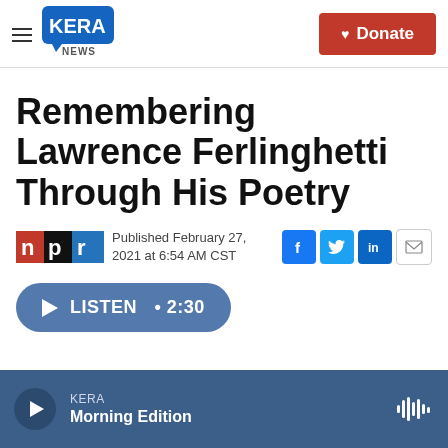KERA NEWS — Donate
Remembering Lawrence Ferlinghetti Through His Poetry
Published February 27, 2021 at 6:54 AM CST
LISTEN • 2:30
KERA Morning Edition